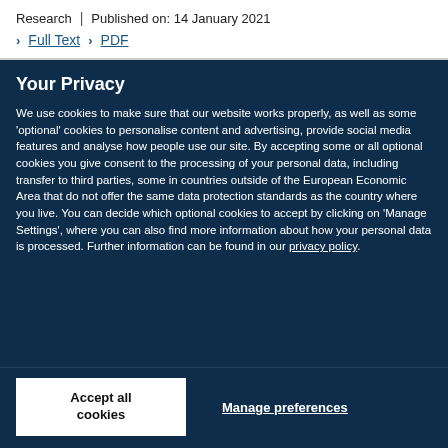Research | Published on: 14 January 2021
> Full Text > PDF
Your Privacy
We use cookies to make sure that our website works properly, as well as some ‘optional’ cookies to personalise content and advertising, provide social media features and analyse how people use our site. By accepting some or all optional cookies you give consent to the processing of your personal data, including transfer to third parties, some in countries outside of the European Economic Area that do not offer the same data protection standards as the country where you live. You can decide which optional cookies to accept by clicking on ‘Manage Settings’, where you can also find more information about how your personal data is processed. Further information can be found in our privacy policy.
Accept all cookies
Manage preferences